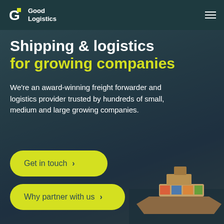Good Logistics
Shipping & logistics for growing companies
We're an award-winning freight forwarder and logistics provider trusted by hundreds of small, medium and large growing companies.
[Figure (illustration): Ship/cargo vessel silhouette in bottom-right corner against ocean background]
Get in touch >
Why partner with us >